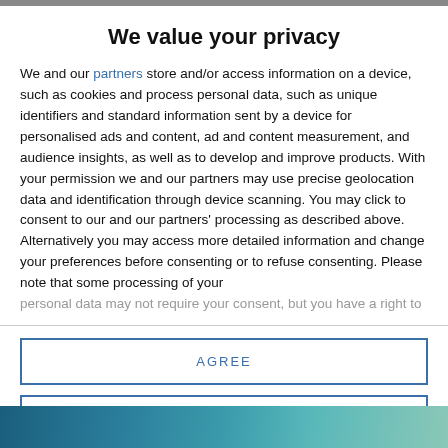We value your privacy
We and our partners store and/or access information on a device, such as cookies and process personal data, such as unique identifiers and standard information sent by a device for personalised ads and content, ad and content measurement, and audience insights, as well as to develop and improve products. With your permission we and our partners may use precise geolocation data and identification through device scanning. You may click to consent to our and our partners' processing as described above. Alternatively you may access more detailed information and change your preferences before consenting or to refuse consenting. Please note that some processing of your personal data may not require your consent, but you have a right to
AGREE
MORE OPTIONS
[Figure (photo): Partial view of a person or scene at the bottom of the page, partially obscured]